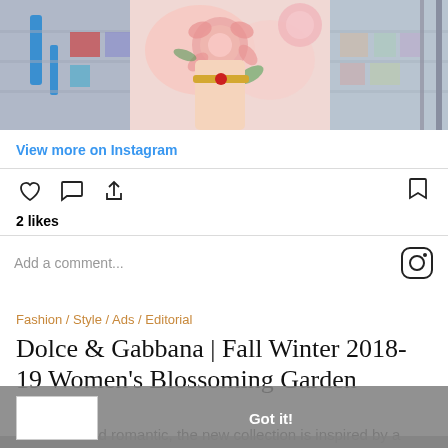[Figure (photo): Instagram post image showing a hand wearing a red bracelet with floral patterned dress, set against a blurred store aisle background]
View more on Instagram
[Figure (infographic): Instagram action bar with heart (like), comment bubble, share icons on left and bookmark icon on right]
2 likes
Add a comment...
Fashion / Style / Ads / Editorial
Dolce & Gabbana | Fall Winter 2018-19 Women's Blossoming Garden
21 5 2018
Feminine and romantic, the new collection is inspired by a blooming garden. Roses and peonies blossom on chiffon dresses...
This website uses cookies to ensure you get the best experience on our website. Learn more Got it!